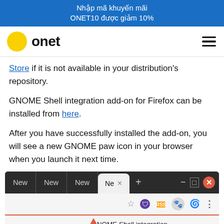Nhập mã khuyến mãi ONET10 được giảm 10%
[Figure (logo): Onet logo with yellow circle and bold 'onet' text, plus hamburger menu icon on right]
Store if it is not available in your distribution's repository.
GNOME Shell integration add-on for Firefox can be installed from here.
After you have successfully installed the add-on, you will see a new GNOME paw icon in your browser when you launch it next time.
[Figure (screenshot): Firefox browser window showing tab bar with tabs labeled New, New, New, Ne (active tab with X), plus button, minimize, maximize, close buttons. Below is a toolbar row with star, shield, RSS, GNOME paw, spiral icons and three-dot menu. A red arrow points to the GNOME paw icon. Bottom shows partial text 'GNOME Shell integration'.]